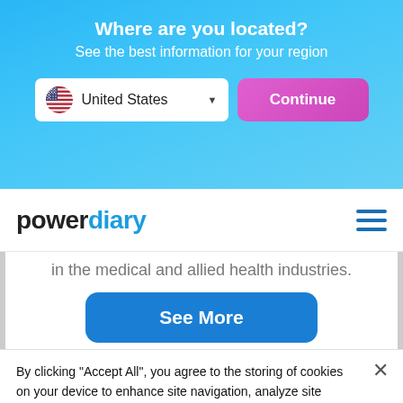Where are you located?
See the best information for your region
[Figure (screenshot): Dropdown showing United States with flag icon and a pink Continue button]
[Figure (logo): Power Diary logo with hamburger menu icon]
in the medical and allied health industries.
[Figure (screenshot): Blue See More button]
By clicking “Accept All”, you agree to the storing of cookies on your device to enhance site navigation, analyze site usage, and assist in our marketing efforts.
[Figure (screenshot): Accept All button (dark blue) and Cookie Settings button (outlined)]